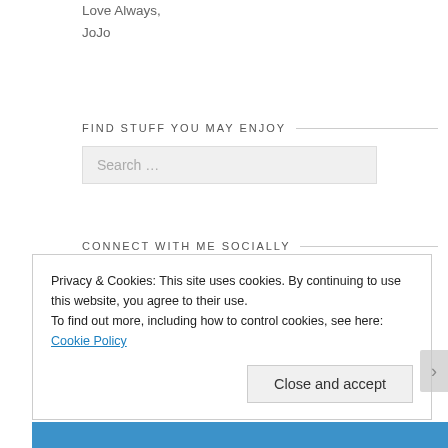Love Always,
JoJo
FIND STUFF YOU MAY ENJOY
Search ...
CONNECT WITH ME SOCIALLY
Privacy & Cookies: This site uses cookies. By continuing to use this website, you agree to their use.
To find out more, including how to control cookies, see here: Cookie Policy
Close and accept